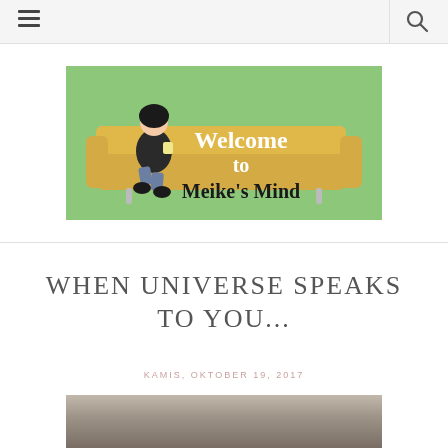≡   🔍
[Figure (illustration): Green banner image with illustrated woman sitting on a yellow sofa holding a cup. Text reads 'Welcome to Meike's Mind' in white/dark lettering.]
WHEN UNIVERSE SPEAKS TO YOU...
KAMIS, OKTOBER 19, 2017
[Figure (photo): Partial photo at bottom of page showing a blurred ground/surface scene.]